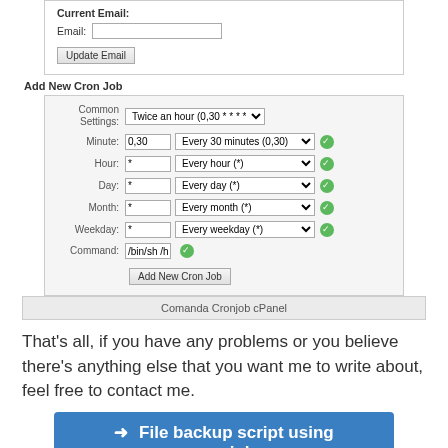[Figure (screenshot): cPanel Cronjob configuration form showing email update section (Current Email label, Email input field, Update Email button) and Add New Cron Job section with fields: Common Settings dropdown (Twice an hour 0,30 * * * *), Minute (0,30, Every 30 minutes), Hour (* Every hour), Day (* Every day), Month (* Every month), Weekday (* Every weekday), Command (/bin/sh /home/username/backup.sh), and Add New Cron Job button. Green checkmark icons next to each row.]
Comanda Cronjob cPanel
That's all, if you have any problems or you believe there's anything else that you want me to write about, feel free to contact me.
[Figure (other): Blue button with arrow: File backup script using cronjob]
automatic backup database, backup, cPanel cronjobs, mysql database